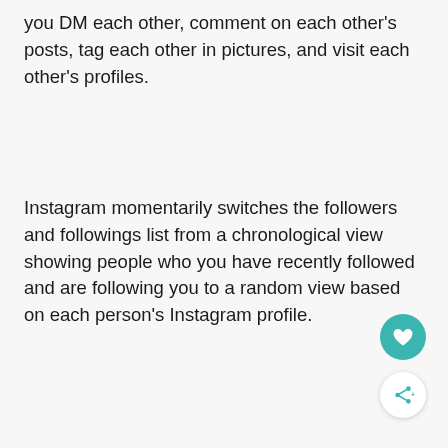you DM each other, comment on each other's posts, tag each other in pictures, and visit each other's profiles.
Instagram momentarily switches the followers and followings list from a chronological view showing people who you have recently followed and are following you to a random view based on each person's Instagram profile.